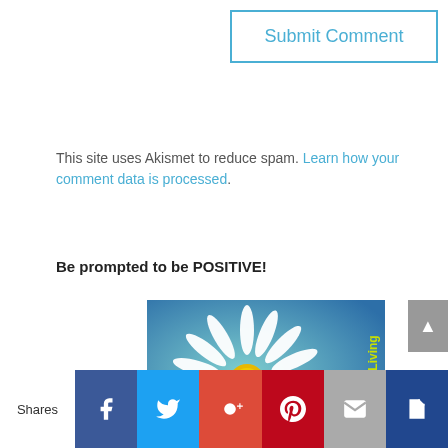Submit Comment
This site uses Akismet to reduce spam. Learn how your comment data is processed.
Be prompted to be POSITIVE!
[Figure (photo): A white daisy flower with yellow center on a blue-green gradient background, with 'ThanksLiving' text vertically on the right side]
Shares
[Figure (infographic): Social sharing bar with Facebook, Twitter, Google+, Pinterest, Email, and bookmark icons]